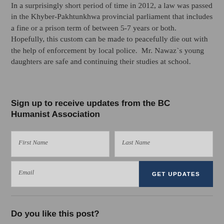In a surprisingly short period of time in 2012, a law was passed in the Khyber-Pakhtunkhwa provincial parliament that includes a fine or a prison term of between 5-7 years or both.  Hopefully, this custom can be made to peacefully die out with the help of enforcement by local police.  Mr. Nawaz`s young daughters are safe and continuing their studies at school.
Sign up to receive updates from the BC Humanist Association
[Figure (other): Email signup form with First Name, Last Name, Email fields and a GET UPDATES button]
Do you like this post?